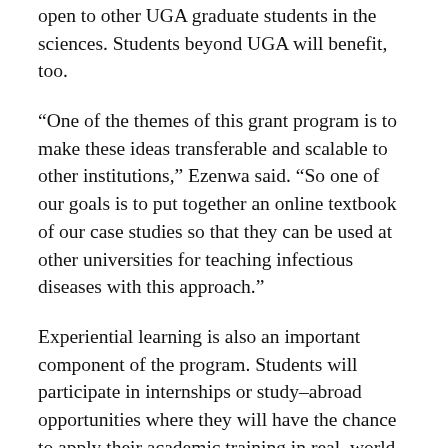open to other UGA graduate students in the sciences. Students beyond UGA will benefit, too.
“One of the themes of this grant program is to make these ideas transferable and scalable to other institutions,” Ezenwa said. “So one of our goals is to put together an online textbook of our case studies so that they can be used at other universities for teaching infectious diseases with this approach.”
Experiential learning is also an important component of the program. Students will participate in internships or study–abroad opportunities where they will have the chance to apply their academic training in real–world situations, gaining the kind of hands–on experience that can’t be acquired in the classroom.
Given the breadth and depth of infectious disease research and interdisciplinary collaboration already underway across campus, UGA is an ideal place to undertake such a program, according to Ezenwa. The interdisciplinary